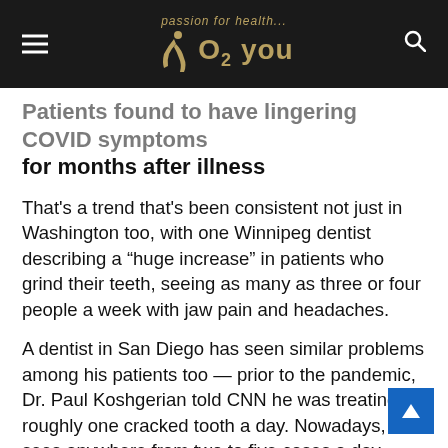passion for health... O2 you
Patients found to have lingering COVID symptoms for months after illness
That's a trend that's been consistent not just in Washington too, with one Winnipeg dentist describing a “huge increase” in patients who grind their teeth, seeing as many as three or four people a week with jaw pain and headaches.
A dentist in San Diego has seen similar problems among his patients too — prior to the pandemic, Dr. Paul Koshgerian told CNN he was treating roughly one cracked tooth a day. Nowadays, he sees anywhere from two to five cases a day. Iowa dentist Dr. Derek Peek spotted the same trend, treating twice as many cracked teeth in August and September as he did in those months last year.